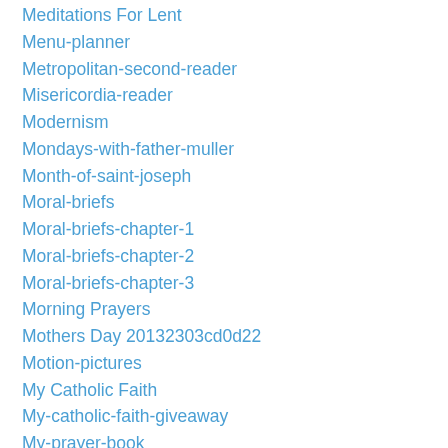Meditations For Lent
Menu-planner
Metropolitan-second-reader
Misericordia-reader
Modernism
Mondays-with-father-muller
Month-of-saint-joseph
Moral-briefs
Moral-briefs-chapter-1
Moral-briefs-chapter-2
Moral-briefs-chapter-3
Morning Prayers
Mothers Day 20132303cd0d22
Motion-pictures
My Catholic Faith
My-catholic-faith-giveaway
My-prayer-book
Narcissus
Nativity
New Years
New Years Day